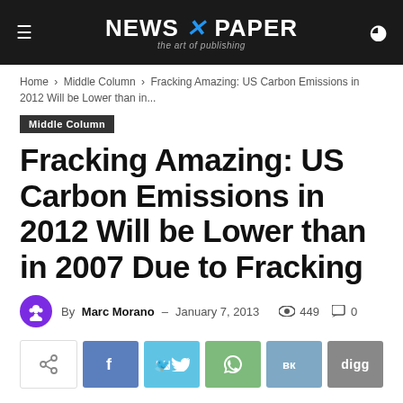NEWS X PAPER — the art of publishing
Home › Middle Column › Fracking Amazing: US Carbon Emissions in 2012 Will be Lower than in...
Middle Column
Fracking Amazing: US Carbon Emissions in 2012 Will be Lower than in 2007 Due to Fracking
By Marc Morano – January 7, 2013  449  0